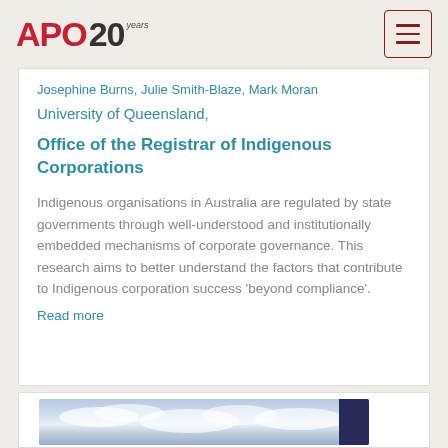APO 20 years
Josephine Burns, Julie Smith-Blaze, Mark Moran University of Queensland,
Office of the Registrar of Indigenous Corporations
Indigenous organisations in Australia are regulated by state governments through well-understood and institutionally embedded mechanisms of corporate governance. This research aims to better understand the factors that contribute to Indigenous corporation success 'beyond compliance'.
Read more
[Figure (photo): Partial image of sky with clouds, partially cropped at bottom of page]